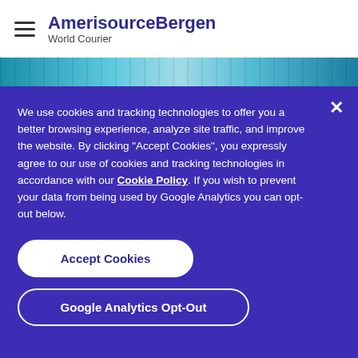AmerisourceBergen World Courier
[Figure (photo): Teal/blue laboratory glassware hero image strip]
We use cookies and tracking technologies to offer you a better browsing experience, analyze site traffic, and improve the website. By clicking "Accept Cookies", you expressly agree to our use of cookies and tracking technologies in accordance with our Cookie Policy. If you wish to prevent your data from being used by Google Analytics you can opt-out below.
Accept Cookies
Google Analytics Opt-Out